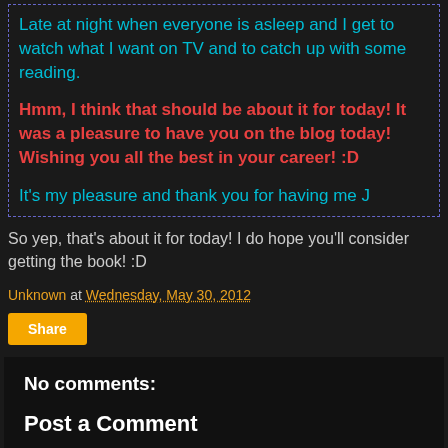Late at night when everyone is asleep and I get to watch what I want on TV and to catch up with some reading.

Hmm, I think that should be about it for today! It was a pleasure to have you on the blog today! Wishing you all the best in your career! :D

It's my pleasure and thank you for having me J
So yep, that's about it for today! I do hope you'll consider getting the book! :D
Unknown at Wednesday, May 30, 2012
Share
No comments:
Post a Comment
Hey there! Comments will make any blogger's